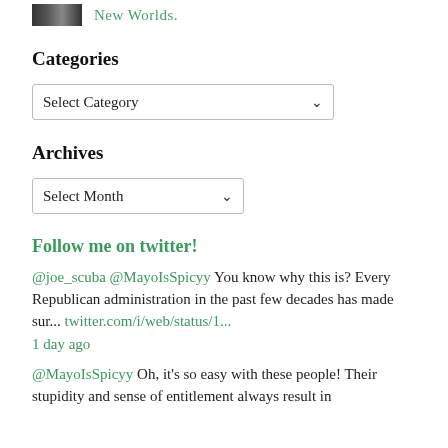[Figure (photo): Small dark thumbnail image of people]
New Worlds.
Categories
Select Category (dropdown)
Archives
Select Month (dropdown)
Follow me on twitter!
@joe_scuba @MayoIsSpicyy You know why this is? Every Republican administration in the past few decades has made sur... twitter.com/i/web/status/1... 1 day ago
@MayoIsSpicyy Oh, it's so easy with these people! Their stupidity and sense of entitlement always result in